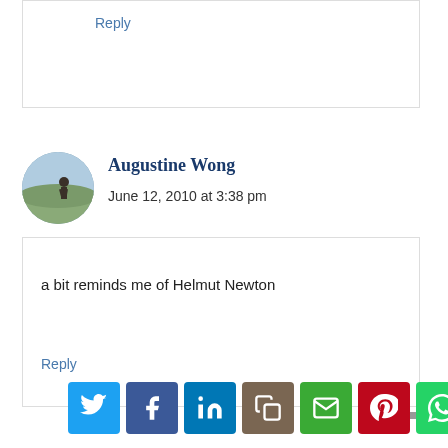Reply
[Figure (photo): Circular avatar photo of Augustine Wong, showing a person outdoors in a field or open landscape]
Augustine Wong
June 12, 2010 at 3:38 pm
a bit reminds me of Helmut Newton
Reply
[Figure (infographic): Social sharing buttons row: Twitter (blue), Facebook (dark blue), LinkedIn (blue), Copy (brown), Email (green), Pinterest (red), WhatsApp (green)]